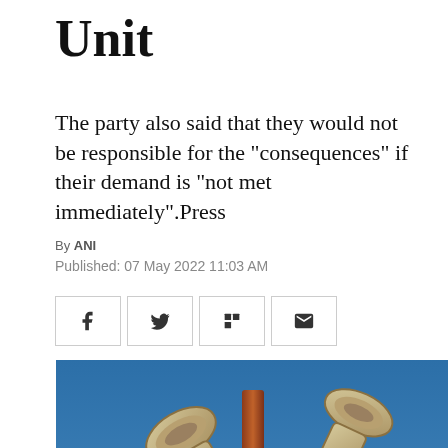Unit
The party also said that they would not be responsible for the "consequences" if their demand is "not met immediately".Press
By ANI
Published: 07 May 2022 11:03 AM
[Figure (other): Social sharing buttons: Facebook, Twitter, Flipboard, Email]
[Figure (photo): Photograph of multiple loudspeakers mounted on a pole against a blue sky, with an India Ahead logo watermark in the bottom left corner]